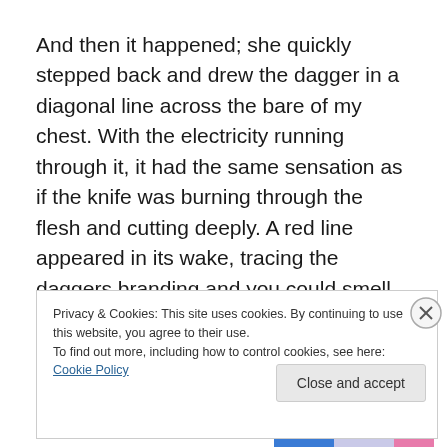And then it happened; she quickly stepped back and drew the dagger in a diagonal line across the bare of my chest. With the electricity running through it, it had the same sensation as if the knife was burning through the flesh and cutting deeply. A red line appeared in its wake, tracing the daggers branding and you could smell the scent of burning flesh.
Privacy & Cookies: This site uses cookies. By continuing to use this website, you agree to their use. To find out more, including how to control cookies, see here: Cookie Policy